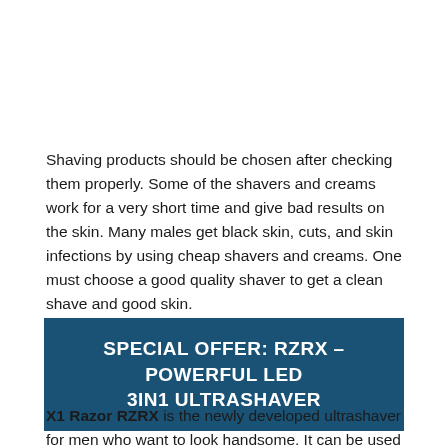Shaving products should be chosen after checking them properly. Some of the shavers and creams work for a very short time and give bad results on the skin. Many males get black skin, cuts, and skin infections by using cheap shavers and creams. One must choose a good quality shaver to get a clean shave and good skin.
SPECIAL OFFER: RZRX – POWERFUL LED 3IN1 ULTRASHAVER
X1 Razor RZRX is the newly developed ultrashaver for men who want to look handsome. It can be used for shaving